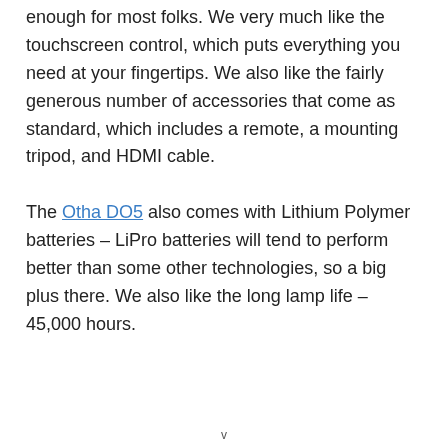enough for most folks. We very much like the touchscreen control, which puts everything you need at your fingertips. We also like the fairly generous number of accessories that come as standard, which includes a remote, a mounting tripod, and HDMI cable.
The Otha DO5 also comes with Lithium Polymer batteries – LiPro batteries will tend to perform better than some other technologies, so a big plus there. We also like the long lamp life – 45,000 hours.
v